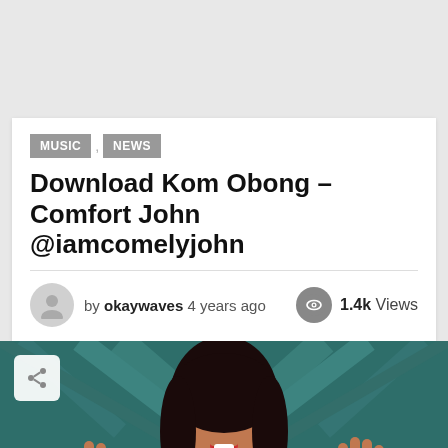MUSIC , NEWS
Download Kom Obong – Comfort John @iamcomelyjohn
by okaywaves 4 years ago   1.4k Views
[Figure (photo): Woman with hands raised, smiling, in front of teal geometric background]